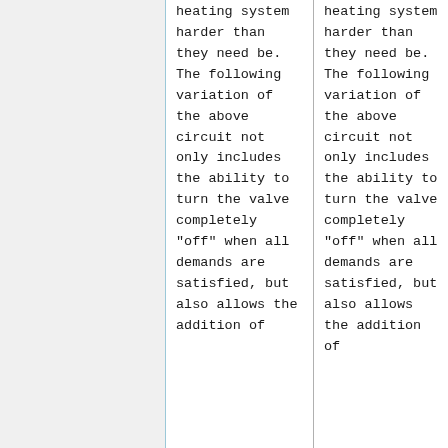heating system harder than they need be. The following variation of the above circuit not only includes the ability to turn the valve completely "off" when all demands are satisfied, but also allows the addition of
heating system harder than they need be. The following variation of the above circuit not only includes the ability to turn the valve completely "off" when all demands are satisfied, but also allows the addition of